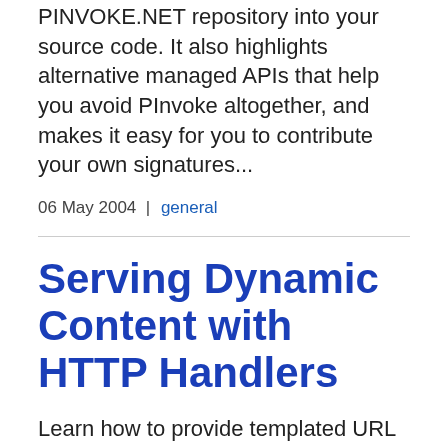PINVOKE.NET repository into your source code. It also highlights alternative managed APIs that help you avoid PInvoke altogether, and makes it easy for you to contribute your own signatures...
06 May 2004 |  general
Serving Dynamic Content with HTTP Handlers
Learn how to provide templated URL driven content with HTTP Handlers, using three real-world scenarios presented in this article. more ...